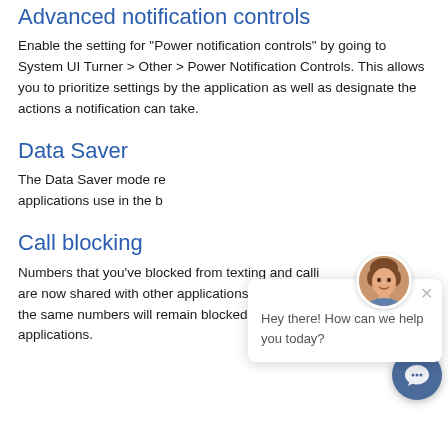Advanced notification controls
Enable the setting for “Power notification controls” by going to System UI Turner > Other > Power Notification Controls. This allows you to prioritize settings by the application as well as designate the actions a notification can take.
Data Saver
The Data Saver mode re… applications use in the b…
Call blocking
Numbers that you’ve blocked from texting and calli… are now shared with other applications, ensurin… the same numbers will remain blocked across all applications.
[Figure (screenshot): Chat support widget overlay showing a female avatar photo, a close (x) button, and the message 'Hey there! How can we help you today?' with a circular chat icon button at the bottom right.]